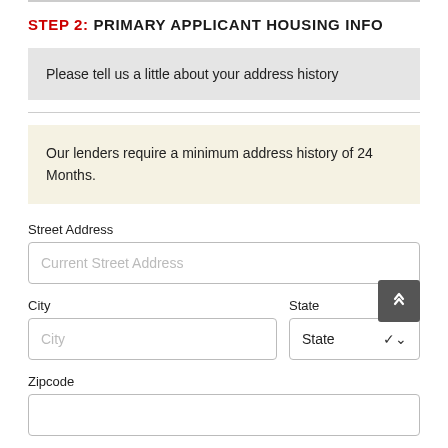STEP 2: PRIMARY APPLICANT HOUSING INFO
Please tell us a little about your address history
Our lenders require a minimum address history of 24 Months.
Street Address
Current Street Address
City
State
Zipcode